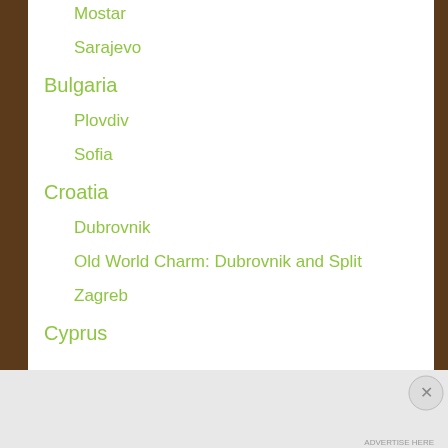Mostar
Sarajevo
Bulgaria
Plovdiv
Sofia
Croatia
Dubrovnik
Old World Charm: Dubrovnik and Split
Zagreb
Cyprus
Advertisements
[Figure (other): Jetpack advertisement banner with 'Back up your site' button]